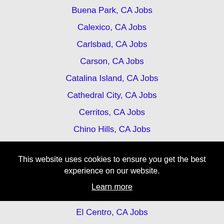Buena Park, CA Jobs
Calexico, CA Jobs
Carlsbad, CA Jobs
Carson, CA Jobs
Catalina Island, CA Jobs
Cathedral City, CA Jobs
Cerritos, CA Jobs
Chino Hills, CA Jobs
Chula Vista, CA Jobs
This website uses cookies to ensure you get the best experience on our website.
Learn more
Got it!
El Centro, CA Jobs